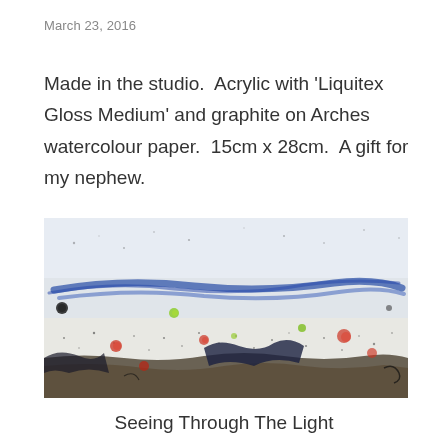March 23, 2016
Made in the studio.  Acrylic with 'Liquitex Gloss Medium' and graphite on Arches watercolour paper.  15cm x 28cm.  A gift for my nephew.
[Figure (photo): Abstract acrylic and graphite painting on watercolour paper showing a landscape-like composition with blue sweeping strokes across the upper portion, scattered red and green spots suggesting flowers or organic forms, dark textural elements along the lower portion, on a white/grey background with fine spatter marks throughout.]
Seeing Through The Light